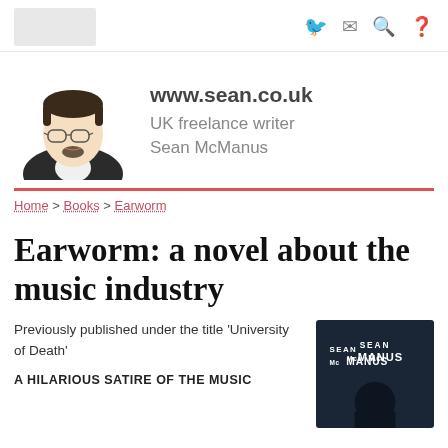www.sean.co.uk — header with logo and icons (Twitter, email, search, help)
[Figure (illustration): Cartoon illustration of a man with glasses, dark hair, and a beard wearing a dark suit jacket and white shirt]
www.sean.co.uk
UK freelance writer
Sean McManus
Home > Books > Earworm
Earworm: a novel about the music industry
Previously published under the title 'University of Death'
[Figure (illustration): Book cover for Earworm by Sean McManus — dark blue cover with author name in white bold text and a silhouette at bottom]
A HILARIOUS SATIRE OF THE MUSIC